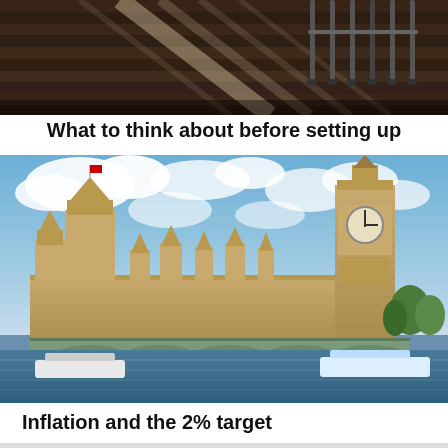[Figure (photo): Top-down view of a wooden floor with office chair legs and diagonal light streaks]
What to think about before setting up
[Figure (photo): Photograph of the Houses of Parliament and Big Ben in London, viewed from across the River Thames with Westminster Bridge visible]
Inflation and the 2% target
[Figure (photo): Partial view of a light-colored surface, bottom of page cropped]